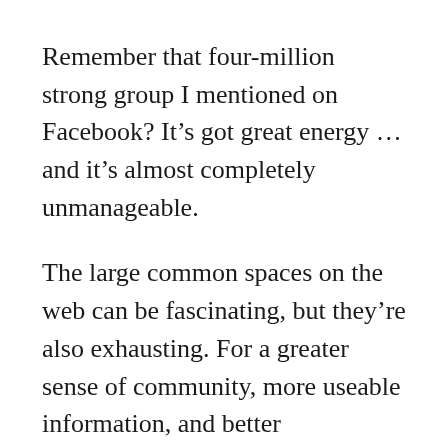Remember that four-million strong group I mentioned on Facebook? It’s got great energy … and it’s almost completely unmanageable.
The large common spaces on the web can be fascinating, but they’re also exhausting. For a greater sense of community, more useable information, and better connections, look for smaller groups.
Groups that are too small will run out of steam — there’s definitely a point of critical